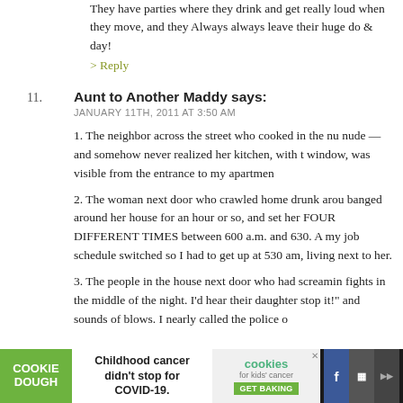They have parties where they drink and get really loud when they move, and they Always always leave their huge do & day!
> Reply
11. Aunt to Another Maddy says: JANUARY 11TH, 2011 AT 3:50 AM
1. The neighbor across the street who cooked in the nu nude — and somehow never realized her kitchen, with t window, was visible from the entrance to my apartmen
2. The woman next door who crawled home drunk arou banged around her house for an hour or so, and set her FOUR DIFFERENT TIMES between 600 a.m. and 630. A my job schedule switched so I had to get up at 530 am, living next to her.
3. The people in the house next door who had screamin fights in the middle of the night. I'd hear their daughter stop it!" and sounds of blows. I nearly called the police o
[Figure (screenshot): Advertisement bar at bottom: Cookie Dough logo, Childhood cancer didn't stop for COVID-19, cookies for kids cancer GET BAKING]